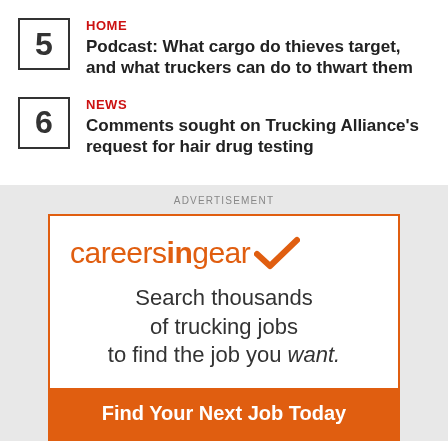5 HOME — Podcast: What cargo do thieves target, and what truckers can do to thwart them
6 NEWS — Comments sought on Trucking Alliance's request for hair drug testing
ADVERTISEMENT
[Figure (infographic): careersingear.com advertisement with logo, tagline 'Search thousands of trucking jobs to find the job you want.' and CTA button 'Find Your Next Job Today']